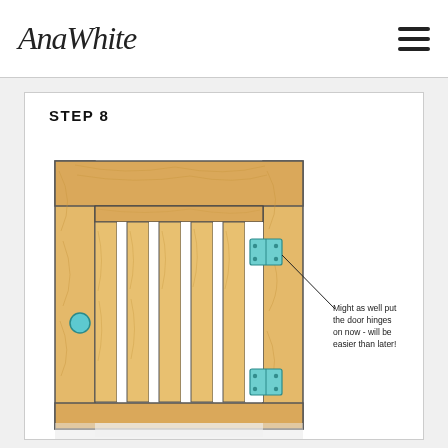AnaWhite
STEP 8
[Figure (engineering-diagram): Step 8 illustration of a wooden door panel with vertical slats, a horizontal top rail, outer frame, and two door hinges (shown in teal/blue) on the right vertical stile. A circular knocker placeholder shown on the left stile. A callout annotation reads: 'Might as well put the door hinges on now - will be easier than later!']